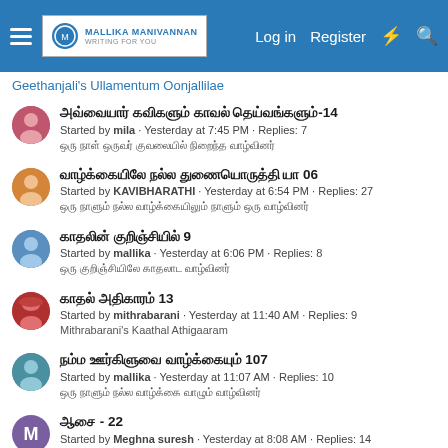Mallika Manivannan Writing For You — Log in | Register
Geethanjali's Ullamentum Oonjallilae
அவ்வையார் கவிகளும் காவல் தெய்வங்களும்-14
Started by mila · Yesterday at 7:45 PM · Replies: 7
ஒரு நாள் ஒருவர் குவலையில் நிறைந்த வாழ்வினர்
வாழ்க்கையிலே நல்ல துணையொருத்தி யா 06
Started by KAVIBHARATHI · Yesterday at 6:54 PM · Replies: 27
ஒரு நாளும் நல்ல வாழ்க்கையிலும் நாளும் ஒரு வாழ்வினர்
காதலின் குறிஞ்சியில் 9
Started by mallika · Yesterday at 6:06 PM · Replies: 8
ஒரு குறிஞ்சியிலே காதலாட வாழ்வினர்
காதல் அதிகாரம் 13
Started by mithrabarani · Yesterday at 11:40 AM · Replies: 9
Mithrabarani's Kaathal Athigaaram
நம்ம ஊர்கிளுவை வாழ்க்கையும் 107
Started by mallika · Yesterday at 11:07 AM · Replies: 10
ஒரு நாளும் நல்ல வாழ்க்கை வாழும் வாழ்வினர்
ஆசை - 22
Started by Meghna suresh · Yesterday at 8:08 AM · Replies: 14